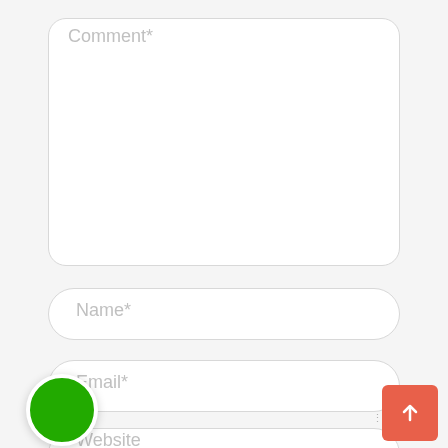[Figure (screenshot): A web form with a Comment textarea, Name input field, Email input field, a partially visible Website input field, a green circle button overlapping the Email field area, and an orange/red scroll-to-top button with an upward arrow in the bottom-right corner.]
Comment*
Name*
Email*
Website